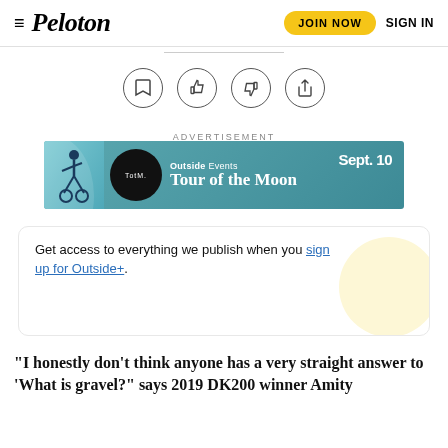≡ Peloton | JOIN NOW  SIGN IN
[Figure (infographic): Four circular icon buttons: bookmark, thumbs up, thumbs down, share]
ADVERTISEMENT
[Figure (infographic): Advertisement banner: TotM. Outside Events Tour of the Moon Sept. 10]
Get access to everything we publish when you sign up for Outside+.
“I honestly don’t think anyone has a very straight answer to ‘What is gravel?’ says 2019 DK200 winner Amity